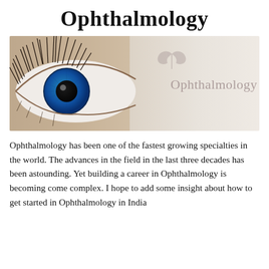Ophthalmology
[Figure (photo): Close-up photograph of a blue human eye with long eyelashes on the left side, and an 'Ophthalmology' text watermark with a decorative leaf/flower icon on the right side against a beige/grey background.]
Ophthalmology has been one of the fastest growing specialties in the world. The advances in the field in the last three decades has been astounding. Yet building a career in Ophthalmology is becoming come complex. I hope to add some insight about how to get started in Ophthalmology in India